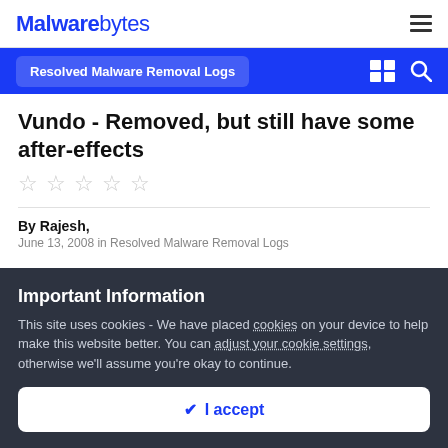Malwarebytes
Resolved Malware Removal Logs
Vundo - Removed, but still have some after-effects
[Figure (other): Five empty star rating icons]
By Rajesh,
Important Information
This site uses cookies - We have placed cookies on your device to help make this website better. You can adjust your cookie settings, otherwise we'll assume you're okay to continue.
I accept